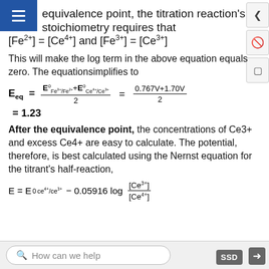equivalence point, the titration reaction's stoichiometry requires that
This will make the log term in the above equation equals zero. The equation simplifies to
After the equivalence point, the concentrations of Ce3+ and excess Ce4+ are easy to calculate. The potential, therefore, is best calculated using the Nernst equation for the titrant's half-reaction,